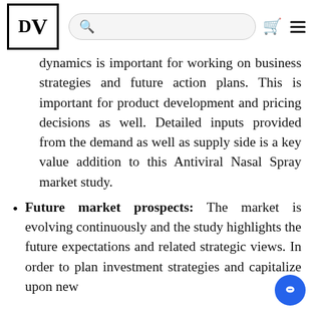DV [logo] [search bar] [bag icon] [menu icon]
dynamics is important for working on business strategies and future action plans. This is important for product development and pricing decisions as well. Detailed inputs provided from the demand as well as supply side is a key value addition to this Antiviral Nasal Spray market study.
Future market prospects: The market is evolving continuously and the study highlights the future expectations and related strategic views. In order to plan investment strategies and capitalize upon new